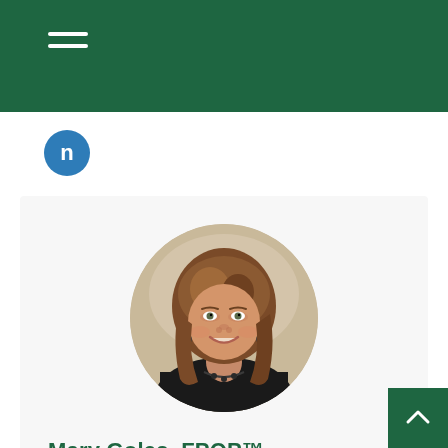Navigation header with hamburger menu
[Figure (logo): LinkedIn 'n' circular icon in blue]
[Figure (photo): Circular headshot photo of Mary Goles, a woman with shoulder-length brown hair wearing a black top and necklace]
Mary Goles, FPQP™
Director of Operations
410-771-5661